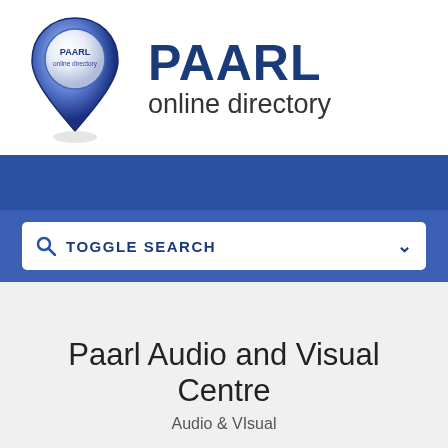[Figure (logo): PAARL online directory logo with blue map pin icon and brand text 'PAARL online directory']
TOGGLE SEARCH
Paarl Audio and Visual Centre
Audio & VIsual